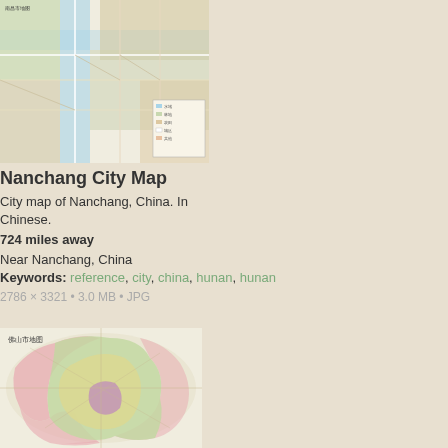[Figure (map): City map of Nanchang, China showing roads, rivers, and geographic features with Chinese text labels and a legend]
Nanchang City Map
City map of Nanchang, China. In Chinese.
724 miles away
Near Nanchang, China
Keywords: reference, city, china, hunan, hunan
2786 × 3321 • 3.0 MB • JPG
[Figure (map): City map of Foshan (佛山市地图), China showing administrative districts with colored regions in green, yellow, and pink]